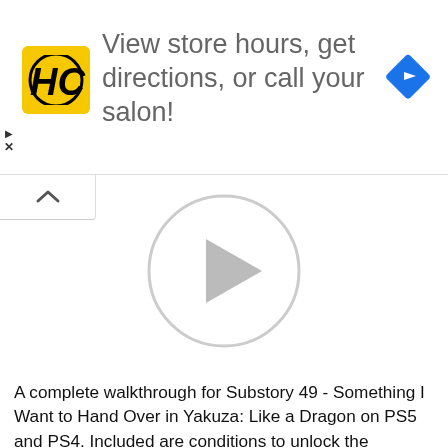[Figure (screenshot): Advertisement banner with HC (Hair Club) yellow logo on left, text 'View store hours, get directions, or call your salon!' in center, blue navigation/directions diamond icon on right]
[Figure (screenshot): Video player with large circular play button in center on white background, chevron/collapse tab in top left corner]
A complete walkthrough for Substory 49 - Something I Want to Hand Over in Yakuza: Like a Dragon on PS5 and PS4. Included are conditions to unlock the substory, objectives, locations,
[Figure (screenshot): Bottom video player overlay showing horror game creature (zombie-like face) with PLAYS watermark logo, close X button in top right corner and play button in center]